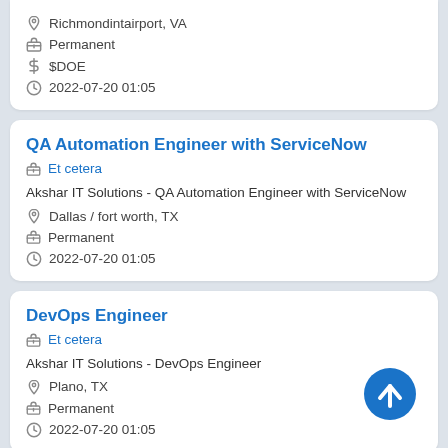Richmondintairport, VA | Permanent | $DOE | 2022-07-20 01:05
QA Automation Engineer with ServiceNow
Et cetera
Akshar IT Solutions - QA Automation Engineer with ServiceNow
Dallas / fort worth, TX | Permanent | 2022-07-20 01:05
DevOps Engineer
Et cetera
Akshar IT Solutions - DevOps Engineer
Plano, TX | Permanent | 2022-07-20 01:05